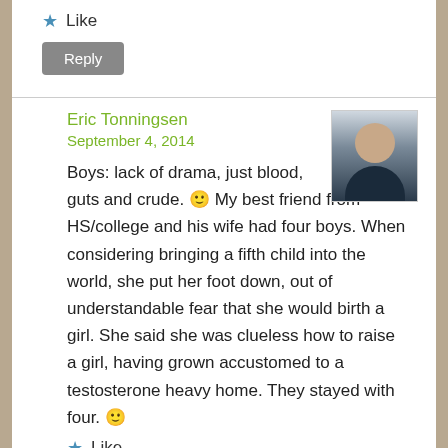Like
Reply
Eric Tonningsen
September 4, 2014
[Figure (photo): Avatar photo of Eric Tonningsen, a bald man wearing a dark jacket, photographed from shoulders up against a light background]
Boys: lack of drama, just blood, guts and crude. 🙂 My best friend from HS/college and his wife had four boys. When considering bringing a fifth child into the world, she put her foot down, out of understandable fear that she would birth a girl. She said she was clueless how to raise a girl, having grown accustomed to a testosterone heavy home. They stayed with four. 🙂
Like